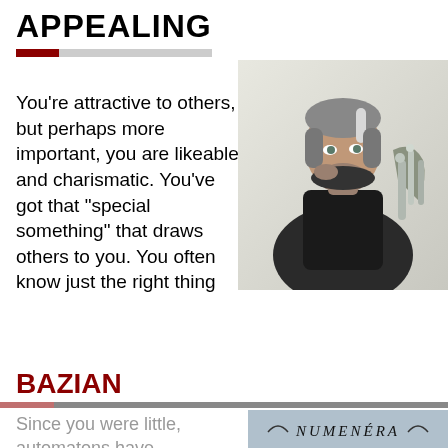APPEALING
You're attractive to others, but perhaps more important, you are likeable and charismatic. You've got that “special something” that draws others to you. You often know just the right thing
[Figure (illustration): Fantasy character illustration: a man with silver-streaked hair, beard, wearing dark armor with mechanical equipment on his back, looking over his shoulder]
This website uses cookies to ensure you get the best experience on our website.
Our Privacy Policy
Got it!
BAZIAN
Since you were little, automatons have
[Figure (logo): Numenera logo text on blue-grey background]